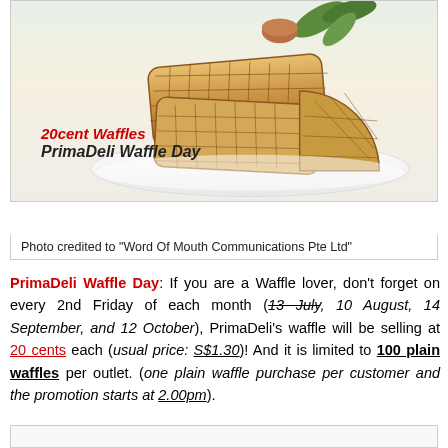[Figure (photo): Photo of waffles stacked on a white plate with toppings in the background, with overlay text '20cent Waffles' in red and 'PrimaDeli Waffle Day' in bold black italic.]
Photo credited to "Word Of Mouth Communications Pte Ltd"
PrimaDeli Waffle Day: If you are a Waffle lover, don't forget on every 2nd Friday of each month (13 July, 10 August, 14 September, and 12 October), PrimaDeli's waffle will be selling at 20 cents each (usual price: S$1.30)! And it is limited to 100 plain waffles per outlet. (one plain waffle purchase per customer and the promotion starts at 2.00pm).